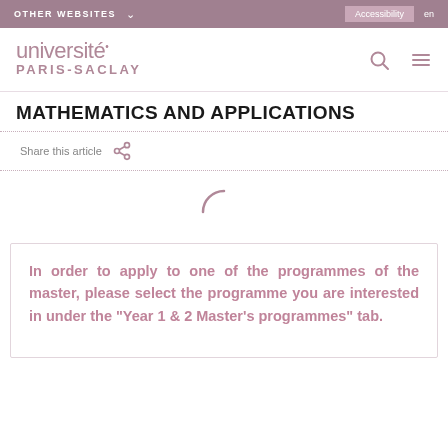OTHER WEBSITES  ∨  Accessibility  en
[Figure (logo): Université Paris-Saclay logo with search and menu icons]
MATHEMATICS AND APPLICATIONS
Share this article
[Figure (other): Loading spinner arc]
In order to apply to one of the programmes of the master, please select the programme you are interested in under the "Year 1 & 2 Master's programmes" tab.